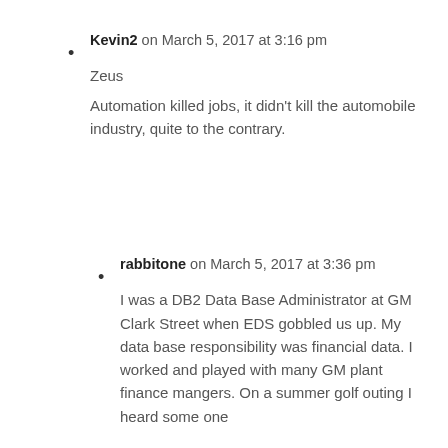Kevin2 on March 5, 2017 at 3:16 pm

Zeus

Automation killed jobs, it didn't kill the automobile industry, quite to the contrary.
rabbitone on March 5, 2017 at 3:36 pm

I was a DB2 Data Base Administrator at GM Clark Street when EDS gobbled us up. My data base responsibility was financial data. I worked and played with many GM plant finance mangers. On a summer golf outing I heard some one